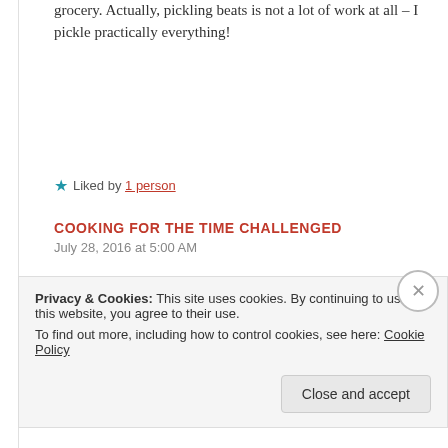grocery. Actually, pickling beats is not a lot of work at all – I pickle practically everything!
★ Liked by 1 person
COOKING FOR THE TIME CHALLENGED
July 28, 2016 at 5:00 AM
The fermented beets. I have never pickled or canned anything. I would like to but my family liked
Privacy & Cookies: This site uses cookies. By continuing to use this website, you agree to their use. To find out more, including how to control cookies, see here: Cookie Policy
Close and accept